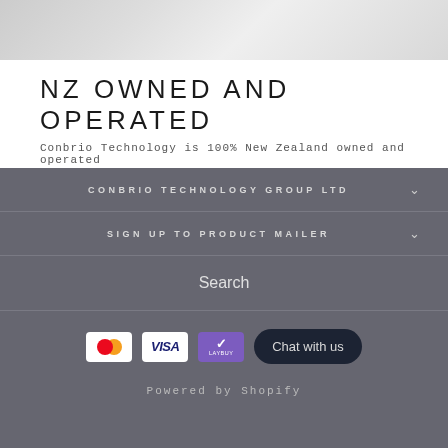[Figure (photo): Partial product/banner image visible at top, light gray tones]
NZ OWNED AND OPERATED
Conbrio Technology is 100% New Zealand owned and operated
CONBRIO TECHNOLOGY GROUP LTD
SIGN UP TO PRODUCT MAILER
Search
[Figure (other): Payment method icons: Mastercard, Visa, Laybuy, and a Chat with us button]
Powered by Shopify